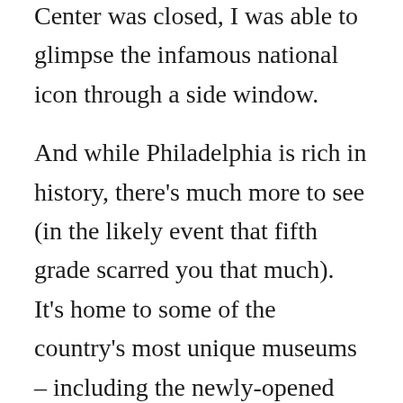Constitution Center. And though the Liberty Bell Center was closed, I was able to glimpse the infamous national icon through a side window.
And while Philadelphia is rich in history, there’s much more to see (in the likely event that fifth grade scarred you that much). It’s home to some of the country’s most unique museums – including the newly-opened (and somewhat controversial) Barnes, to the creepy and jaw-dropping Mutter Museum.
Here are some of my recommendations on how to spend your time in The City of Brotherly Love: